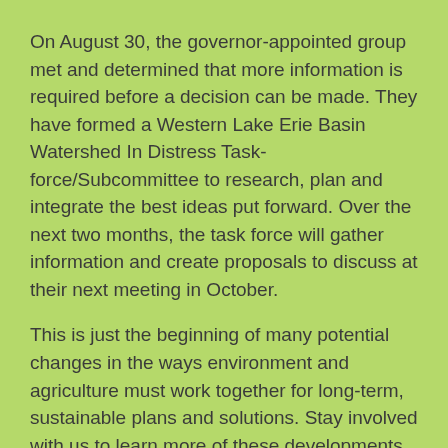On August 30, the governor-appointed group met and determined that more information is required before a decision can be made. They have formed a Western Lake Erie Basin Watershed In Distress Task-force/Subcommittee to research, plan and integrate the best ideas put forward. Over the next two months, the task force will gather information and create proposals to discuss at their next meeting in October.
This is just the beginning of many potential changes in the ways environment and agriculture must work together for long-term, sustainable plans and solutions. Stay involved with us to learn more of these developments.
LEADER SPOTLIGHT